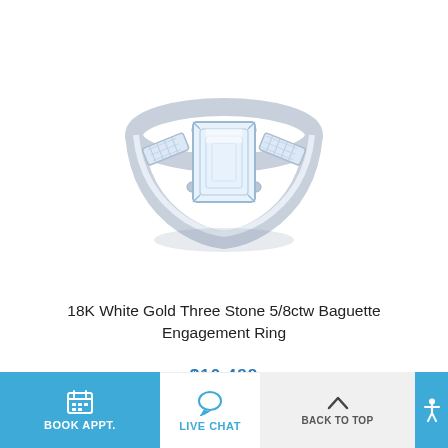[Figure (photo): 18K white gold diamond engagement ring with large emerald-cut center stone and two tapered baguette side stones, photographed on white background]
18K White Gold Three Stone 5/8ctw Baguette Engagement Ring
$10,488
BOOK APPT.   LIVE CHAT   BACK TO TOP